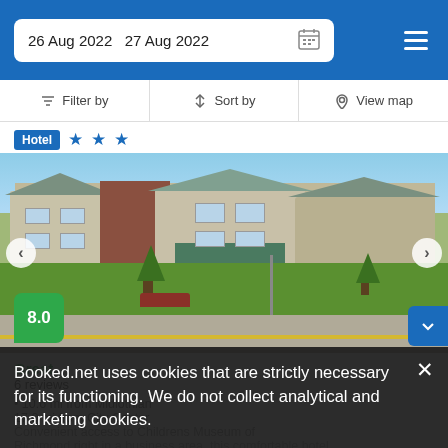26 Aug 2022  27 Aug 2022
Filter by  Sort by  View map
Hotel ★★★
[Figure (photo): Exterior photo of a multi-story hotel building with brick and beige cladding, green lawn, trees, and a road in front.]
8.0
Great
6 reviews
10.6 mi from Midlothian
17.0 mi from City Center
Convenient access to Childrens Museum of Richmond right in a business area, this comfortable hotel
Booked.net uses cookies that are strictly necessary for its functioning. We do not collect analytical and marketing cookies.